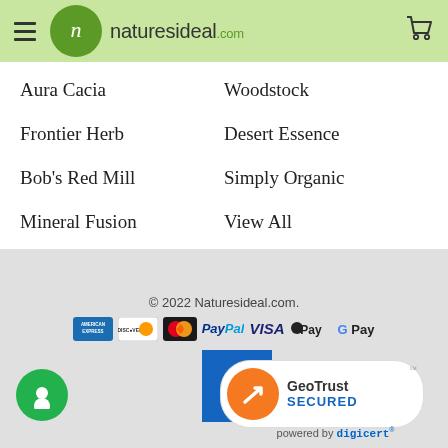naturesideal.com
Aura Cacia
Woodstock
Frontier Herb
Desert Essence
Bob's Red Mill
Simply Organic
Mineral Fusion
View All
© 2022 Naturesideal.com.
[Figure (logo): Payment icons: American Express, Discover, MasterCard, PayPal, VISA, Apple Pay, G Pay]
[Figure (logo): GeoTrust SECURED powered by digicert badge]